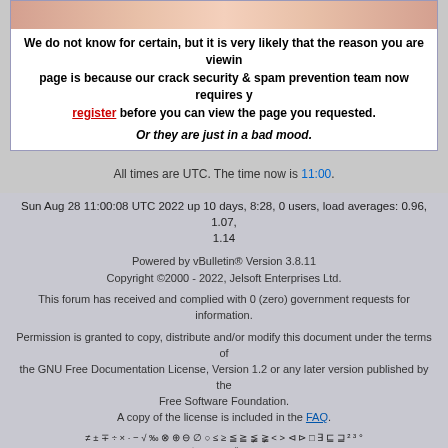[Figure (photo): Partial image of a face/person at top of page]
We do not know for certain, but it is very likely that the reason you are viewing this page is because our crack security & spam prevention team now requires you to register before you can view the page you requested.
Or they are just in a bad mood.
All times are UTC. The time now is 11:00.
Sun Aug 28 11:00:08 UTC 2022 up 10 days, 8:28, 0 users, load averages: 0.96, 1.07, 1.14
Powered by vBulletin® Version 3.8.11
Copyright ©2000 - 2022, Jelsoft Enterprises Ltd.
This forum has received and complied with 0 (zero) government requests for information.
Permission is granted to copy, distribute and/or modify this document under the terms of the GNU Free Documentation License, Version 1.2 or any later version published by the Free Software Foundation.
A copy of the license is included in the FAQ.
≠ ± ∓ ÷ × · − √ ‰ ⊗ ⊕ ⊖ ∅ ○ ≤ ≥ ≦ ≧ ≨ ≩ < > ≪ ≫ □ ∃ ⊑ ⊒ ² ³ °
∠ ∟ ° ≡ ~ ∥ ⊥ ∏
≡ ≜ ≈ ∝ ∞ ≪ ≫ ⌈⌉⌊⌋ • ∩ ∪ ∑ ∧ ∨ ∩ ∪ ⊙ ⊕ ⊗ ▮▯◀▶
∅ \ C ↦ ↪ ∩ ∪ ⊆ ⊂ ⊄ ⊆ ⊇ ⊃ ≠ ⊇ ⊖ ∈ ∉ ∋ ∌ ℕ ℤ ℚ ℝ ℂ ℵ ∃ ∀ ℤ
¬ ∨ ∧ ⊕ → ↔ ⇒ ⇐ ⇔ ∀ ∃ ∄ ⋯ ⊤ ⊥ ⊢ ⊨ ⊡ ⊣ … ⋯ ⋮ ⋱
∫ ∬ ∭ ƒ ∬ ⊞ ∇ Δ δ ℱ ℒ ℓ